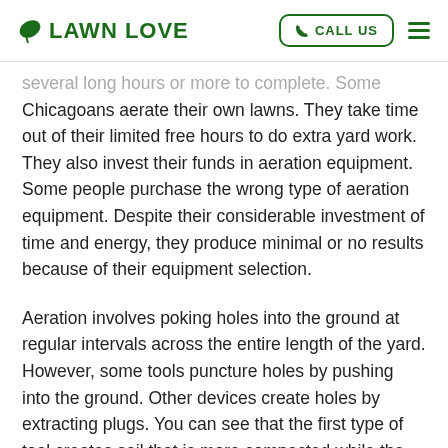LAWN LOVE | CALL US
several long hours or more to complete. Some Chicagoans aerate their own lawns. They take time out of their limited free hours to do extra yard work. They also invest their funds in aeration equipment. Some people purchase the wrong type of aeration equipment. Despite their considerable investment of time and energy, they produce minimal or no results because of their equipment selection.
Aeration involves poking holes into the ground at regular intervals across the entire length of the yard. However, some tools puncture holes by pushing into the ground. Other devices create holes by extracting plugs. You can see that the first type of tool creates soil that is more compacted while the second type of tool legitimately loosens the soil. The more affordable aeration equipment at local stores is usually the first